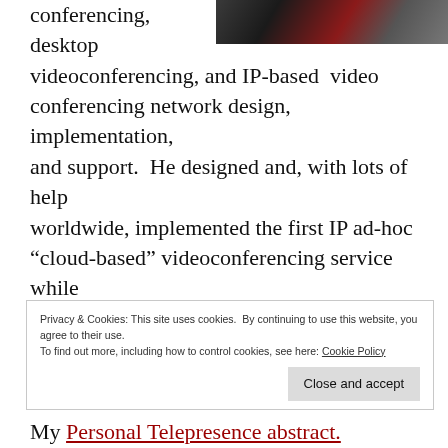[Figure (photo): Partial photo of a laptop/computer peripherals visible at top right corner]
conferencing, desktop videoconferencing, and IP-based video conferencing network design, implementation, and support.  He designed and, with lots of help worldwide, implemented the first IP ad-hoc “cloud-based” videoconferencing service while working at the Energy Sciences Department at Lawrence Berkeley National Lab.
Privacy & Cookies: This site uses cookies. By continuing to use this website, you agree to their use.
To find out more, including how to control cookies, see here: Cookie Policy
My Personal Telepresence abstract.